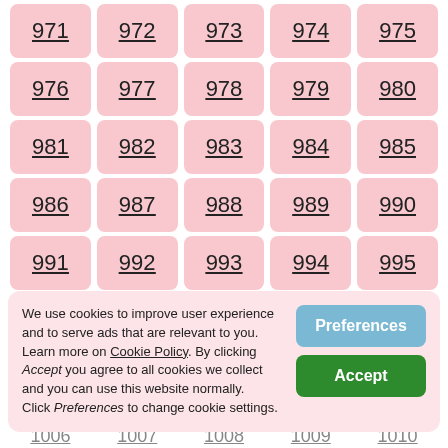971, 972, 973, 974, 975
976, 977, 978, 979, 980
981, 982, 983, 984, 985
986, 987, 988, 989, 990
991, 992, 993, 994, 995
996, 997, 998, 999, 1000 (partially visible)
We use cookies to improve user experience and to serve ads that are relevant to you. Learn more on Cookie Policy. By clicking Accept you agree to all cookies we collect and you can use this website normally. Click Preferences to change cookie settings.
1006, 1007, 1008, 1009, 1010 (partially visible)